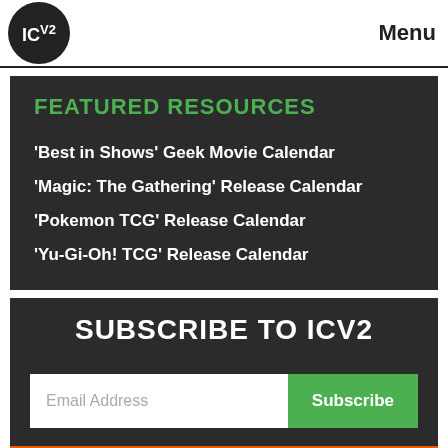ICV2 Menu
FEATURED RESOURCES
'Best in Shows' Geek Movie Calendar
'Magic: The Gathering' Release Calendar
'Pokemon TCG' Release Calendar
'Yu-Gi-Oh! TCG' Release Calendar
SUBSCRIBE TO ICV2
Email Address  Subscribe